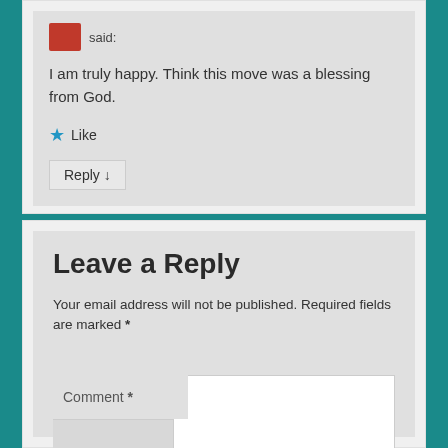said:
I am truly happy. Think this move was a blessing from God.
Like
Reply ↓
Leave a Reply
Your email address will not be published. Required fields are marked *
Comment *